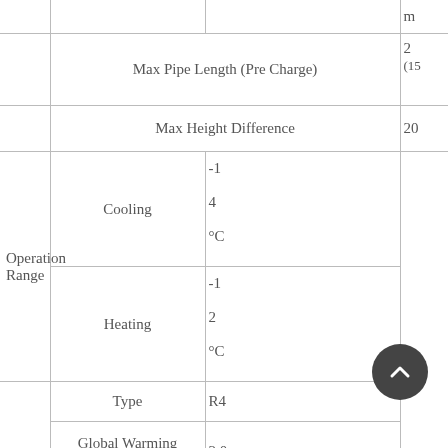|  |  |  | m |
| --- | --- | --- | --- |
| Max Pipe Length (Pre Charge) |  |  | 2 (15 |
| Max Height Difference |  |  | 20 |
| Operation Range | Cooling |  | -1 4 °C |
| Operation Range | Heating |  | -1 2 °C |
| Refrigerant | Type |  | R4 |
| Refrigerant | Global Warming Potential |  | 2,0 |
| Refrigerant | Charge |  | 1, |